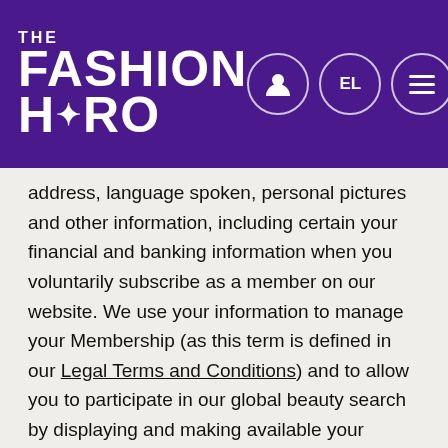THE FASHION HERO
address, language spoken, personal pictures and other information, including certain your financial and banking information when you voluntarily subscribe as a member on our website. We use your information to manage your Membership (as this term is defined in our Legal Terms and Conditions) and to allow you to participate in our global beauty search by displaying and making available your name, age, city and country of residence, occupation, as well as personal pictures and videos and other similar information—but not your financial and banking information—which you submit for this purpose (your Member Profile Information) on our website. We may also collect your personal information such as your name, contact information and e-mail address when you contact us requesting more information about The Fashion Hero or when you make an inquiry through our website. In such case, we will only use your information in order to answer your questions and requests or to provide you with the information requested.